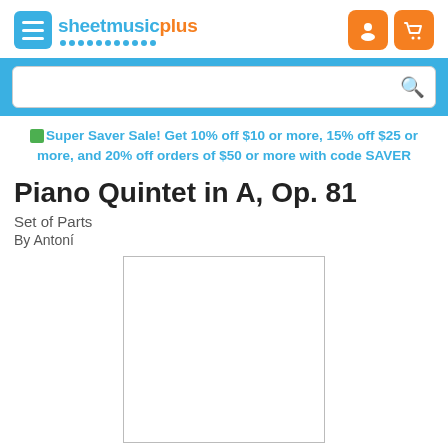sheetmusicplus
[Figure (screenshot): Search bar with blue background]
Super Saver Sale! Get 10% off $10 or more, 15% off $25 or more, and 20% off orders of $50 or more with code SAVER
Piano Quintet in A, Op. 81
Set of Parts
By Antoní
[Figure (photo): White sheet music cover image placeholder]